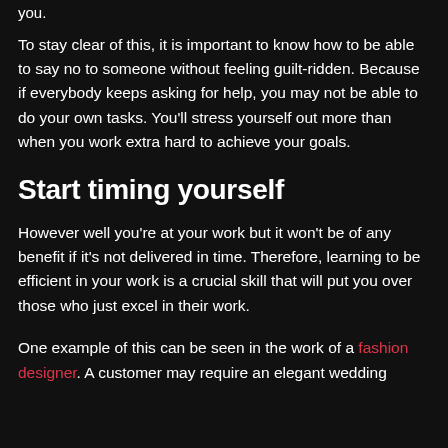you.
To stay clear of this, it is important to know how to be able to say no to someone without feeling guilt-ridden. Because if everybody keeps asking for help, you may not be able to do your own tasks. You'll stress yourself out more than when you work extra hard to achieve your goals.
Start timing yourself
However well you're at your work but it won't be of any benefit if it's not delivered in time. Therefore, learning to be efficient in your work is a crucial skill that will put you over those who just excel in their work.
One example of this can be seen in the work of a fashion designer. A customer may require an elegant wedding